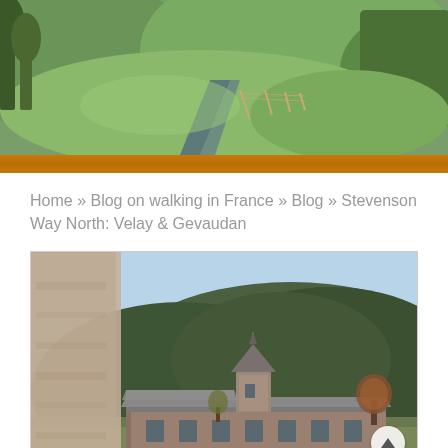[Figure (photo): Wide landscape photo of a country road winding through green hillside with trees in France]
Home » Blog on walking in France » Blog » Stevenson Way North: Velay & Gevaudan
[Figure (photo): Photo of a historic chateau or monastery building with a round tower and slate roof, set against a hillside of trees and blue sky]